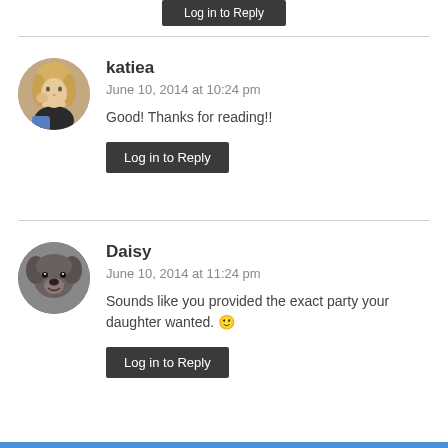[Figure (other): Log in to Reply button at top (partial, cropped)]
katiea
June 10, 2014 at 10:24 pm
Good! Thanks for reading!!
[Figure (photo): Avatar photo of katiea - woman with blonde hair]
Log in to Reply
Daisy
June 10, 2014 at 11:24 pm
Sounds like you provided the exact party your daughter wanted. 🙂
[Figure (photo): Avatar photo of Daisy - appears to be a dog]
Log in to Reply